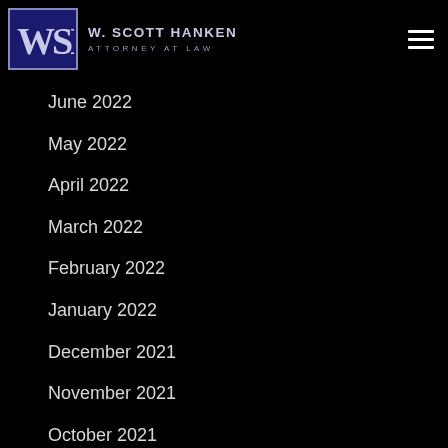[Figure (logo): W. Scott Hanken Attorney at Law logo with WSH monogram in dark blue box]
June 2022
May 2022
April 2022
March 2022
February 2022
January 2022
December 2021
November 2021
October 2021
September 2021
August 2021